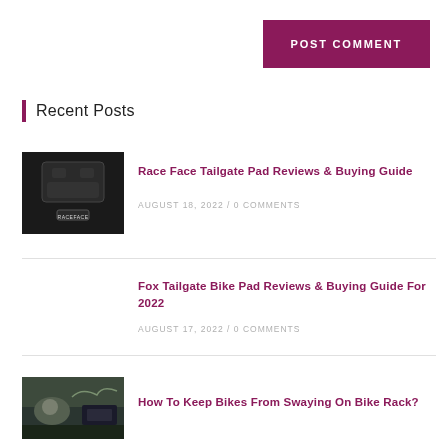POST COMMENT
Recent Posts
[Figure (photo): Race Face tailgate pad product photo, dark/black background]
Race Face Tailgate Pad Reviews & Buying Guide
AUGUST 18, 2022 / 0 COMMENTS
Fox Tailgate Bike Pad Reviews & Buying Guide For 2022
AUGUST 17, 2022 / 0 COMMENTS
[Figure (photo): Person with bike on bike rack, outdoor setting]
How To Keep Bikes From Swaying On Bike Rack?